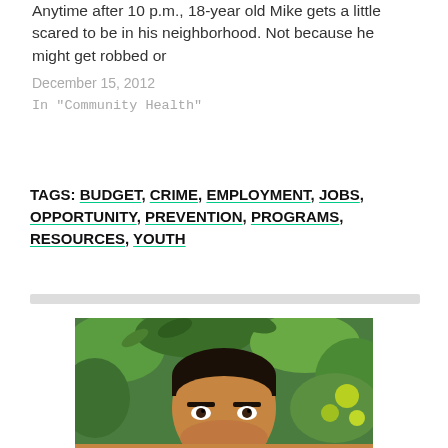Anytime after 10 p.m., 18-year old Mike gets a little scared to be in his neighborhood. Not because he might get robbed or
December 15, 2012
In "Community Health"
TAGS: BUDGET, CRIME, EMPLOYMENT, JOBS, OPPORTUNITY, PREVENTION, PROGRAMS, RESOURCES, YOUTH
[Figure (photo): Portrait photo of a young man outdoors with green foliage and citrus fruit in the background]